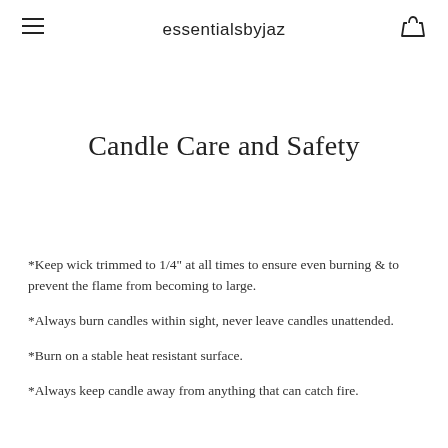essentialsbyjaz
Candle Care and Safety
*Keep wick trimmed to 1/4" at all times to ensure even burning & to prevent the flame from becoming to large.
*Always burn candles within sight, never leave candles unattended.
*Burn on a stable heat resistant surface.
*Always keep candle away from anything that can catch fire.